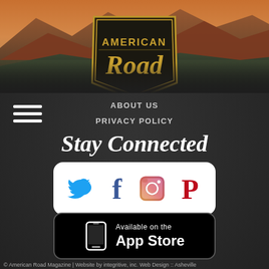[Figure (logo): American Road magazine logo badge with gold lettering on dark background, set against a scenic desert/mountain landscape photo header]
ABOUT US
PRIVACY POLICY
Stay Connected
[Figure (illustration): Social media icons row: Twitter (blue bird), Facebook (blue f), Instagram (colorful camera), Pinterest (red P) on white rounded rectangle background]
[Figure (illustration): App Store download button: black rounded rectangle with phone icon and text 'Available on the App Store']
© American Road Magazine | Website by integritive, inc. Web Design :: Asheville